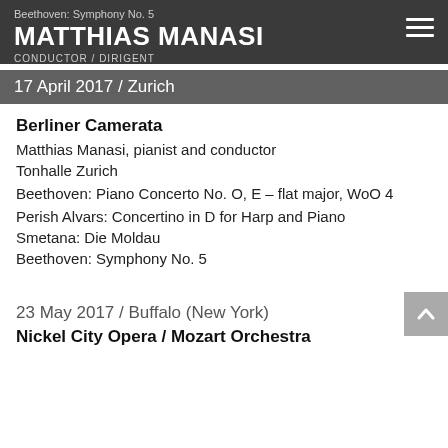Beethoven: Symphony No. 5
MATTHIAS MANASI
CONDUCTOR / DIRIGENT
17 April 2017 / Zurich
Berliner Camerata
Matthias Manasi, pianist and conductor
Tonhalle Zurich
Beethoven: Piano Concerto No. O, E – flat major, WoO 4
Perish Alvars: Concertino in D for Harp and Piano
Smetana: Die Moldau
Beethoven: Symphony No. 5
23 May 2017 / Buffalo (New York)
Nickel City Opera / Mozart Orchestra